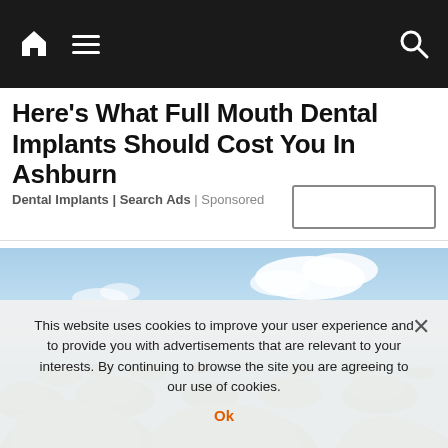Navigation bar with home, menu, and search icons
Here's What Full Mouth Dental Implants Should Cost You In Ashburn
Dental Implants | Search Ads | Sponsored
[Figure (photo): Aerial view of tropical island archipelago with turquoise water and green forested islands under blue sky with clouds]
This website uses cookies to improve your user experience and to provide you with advertisements that are relevant to your interests. By continuing to browse the site you are agreeing to our use of cookies.
Ok